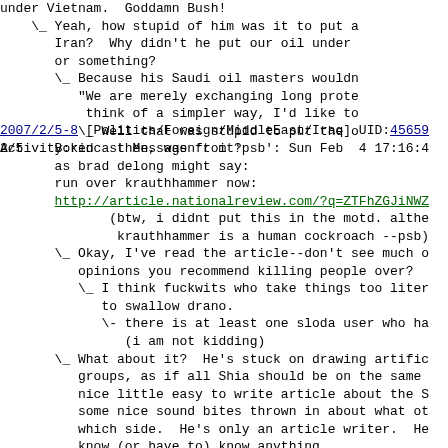under Vietnam.  Goddamn Bush!
    \_ Yeah, how stupid of him was it to put a
       Iran?  Why didn't he put our oil under
       or something?
       \_ Because his Saudi oil masters wouldn
          "We are merely exchanging long prote
           think of a simpler way, I'd like to
          \_ Well that was stupid to put the o
               then, wasn't it?
2007/2/5-8 [Politics/Foreign/MiddleEast/Iraq] UID:45659 Activity:kin
2/5    Boredcast Message from 'psb': Sun Feb  4 17:16:4
       as brad delong might say:
       run over krauthhammer now:
       http://article.nationalreview.com/?q=ZTFhZGJiNWZ
              (btw, i didnt put this in the motd. althe
               krauthhammer is a human cockroach --psb)
       \_ Okay, I've read the article--don't see much o
          opinions you recommend killing people over?
          \_ I think fuckwits who take things too liter
             to swallow drano.
             \- there is at least one sloda user who ha
                (i am not kidding)
       \_ What about it?  He's stuck on drawing artific
          groups, as if all Shia should be on the same
          nice little easy to write article about the S
          some nice sound bites thrown in about what ot
          which side.  He's only an article writer.  He
          know (or have to) know anything.
          \_ Should he be killed?
             \_ Of course not.  He's just an opinion wr